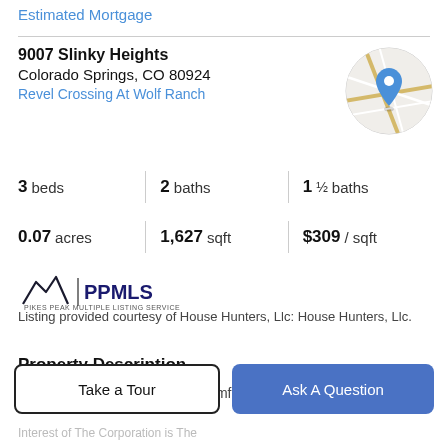Estimated Mortgage
9007 Slinky Heights
Colorado Springs, CO 80924
Revel Crossing At Wolf Ranch
[Figure (map): Circular map thumbnail with a blue location pin marker over a street map.]
3 beds | 2 baths | 1 ½ baths
0.07 acres | 1,627 sqft | $309 / sqft
[Figure (logo): Pikes Peak Multiple Listing Service (PPMLS) logo with mountain silhouette]
Listing provided courtesy of House Hunters, Llc: House Hunters, Llc.
Property Description
Treat yourself to the timeless comforts and top quality
Take a Tour
Ask A Question